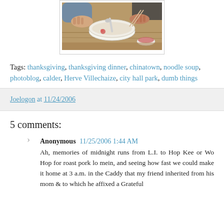[Figure (photo): Two people eating from a bowl of noodle soup at a wooden table, with a small dipping sauce dish visible. One person holds a spoon.]
Tags: thanksgiving, thanksgiving dinner, chinatown, noodle soup, photoblog, calder, Herve Villechaize, city hall park, dumb things
Joelogon at 11/24/2006
5 comments:
Anonymous 11/25/2006 1:44 AM
Ah, memories of midnight runs from L.I. to Hop Kee or Wo Hop for roast pork lo mein, and seeing how fast we could make it home at 3 a.m. in the Caddy that my friend inherited from his mom & to which he affixed a Grateful